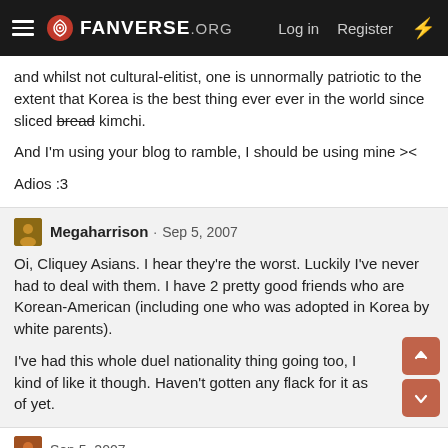FANVERSE.ORG  Log in  Register
and whilst not cultural-elitist, one is unnormally patriotic to the extent that Korea is the best thing ever ever in the world since sliced bread kimchi.
And I'm using your blog to ramble, I should be using mine ><
Adios :3
Megaharrison · Sep 5, 2007
Oi, Cliquey Asians. I hear they're the worst. Luckily I've never had to deal with them. I have 2 pretty good friends who are Korean-American (including one who was adopted in Korea by white parents).
I've had this whole duel nationality thing going too, I kind of like it though. Haven't gotten any flack for it as of yet.